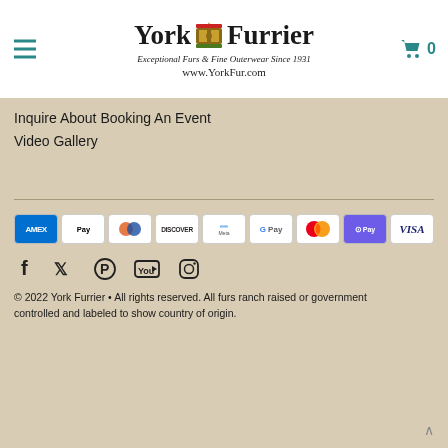York Furrier — Exceptional Furs & Fine Outerwear Since 1931 — www.YorkFur.com
Inquire About Booking An Event
Video Gallery
[Figure (other): Payment method icons: AMEX, Apple Pay, Diners Club, Discover, Meta Pay, Google Pay, Mastercard, Samsung Pay, Visa]
[Figure (other): Social media icons: Facebook, Twitter, Pinterest, YouTube, Instagram]
© 2022 York Furrier • All rights reserved. All furs ranch raised or government controlled and labeled to show country of origin.